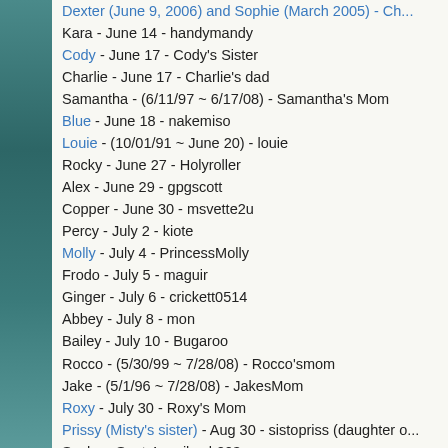Dexter (June 9, 2006) and Sophie (March 2005) - Ch...
Kara - June 14 - handymandy
Cody - June 17 - Cody's Sister
Charlie - June 17 - Charlie's dad
Samantha - (6/11/97 ~ 6/17/08) - Samantha's Mom
Blue - June 18 - nakemiso
Louie - (10/01/91 ~ June 20) - louie
Rocky - June 27 - Holyroller
Alex - June 29 - gpgscott
Copper - June 30 - msvette2u
Percy - July 2 - kiote
Molly - July 4 - PrincessMolly
Frodo - July 5 - maguir
Ginger - July 6 - crickett0514
Abbey - July 8 - mon
Bailey - July 10 - Bugaroo
Rocco - (5/30/99 ~ 7/28/08) - Rocco'smom
Jake - (5/1/96 ~ 7/28/08) - JakesMom
Roxy - July 30 - Roxy's Mom
Prissy (Misty's sister) - Aug 30 - sistopriss (daughter o...
Sasha - Sept 4 - mikeyb203
Basil - Sept 5 - JMackie
Molly - Sept 8 - MollyMunchkin
Lucky - Sept - db54
Buddy - Sept 29 - Aircoop
Suzy - Sept 30 - RTKings